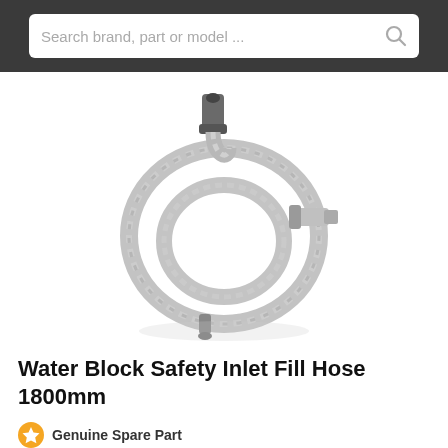Search brand, part or model ...
[Figure (photo): Water Block Safety Inlet Fill Hose 1800mm coiled grey braided hose with fittings at each end]
Water Block Safety Inlet Fill Hose 1800mm
Genuine Spare Part
Suitable for select models of AEG, E66702IM0B...